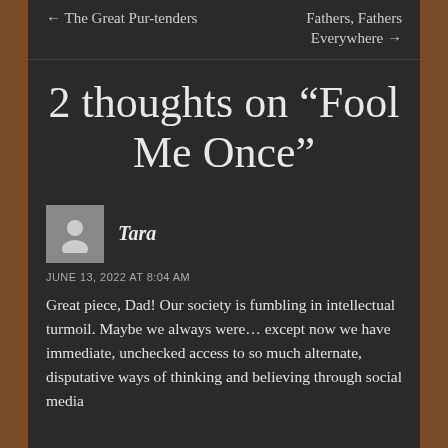← The Great Pur-tenders    Fathers, Fathers Everywhere →
2 thoughts on “Fool Me Once”
Tara
JUNE 13, 2022 AT 8:04 AM
Great piece, Dad! Our society is fumbling in intellectual turmoil. Maybe we always were… except now we have immediate, unchecked access to so much alternate, disputative ways of thinking and believing through social media